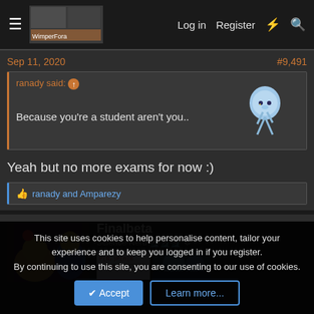Log in  Register
Sep 11, 2020   #9,491
ranady said: ↑
Because you're a student aren't you..
Yeah but no more exams for now :)
👍 ranady and Amparezy
Finalbeta
Science Nerd 🔬🔬🔬 ⚙
This site uses cookies to help personalise content, tailor your experience and to keep you logged in if you register.
By continuing to use this site, you are consenting to our use of cookies.